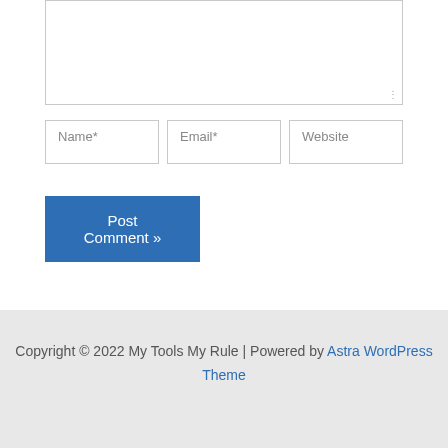Name* | Email* | Website
Post Comment »
Copyright © 2022 My Tools My Rule | Powered by Astra WordPress Theme